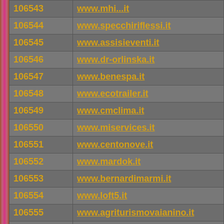| ID | URL |
| --- | --- |
| 106544 | www.specchiriflessi.it |
| 106545 | www.assisieventi.it |
| 106546 | www.dr-orlinska.it |
| 106547 | www.benespa.it |
| 106548 | www.ecotrailer.it |
| 106549 | www.cmclima.it |
| 106550 | www.miservices.it |
| 106551 | www.centonove.it |
| 106552 | www.mardok.it |
| 106553 | www.bernardimarmi.it |
| 106554 | www.loft5.it |
| 106555 | www.agriturismovaianino.it |
| 106556 | www.uboldi.it |
| 106557 | www.autoaccessori24.it |
| 106558 | www.shorelinesrl.it |